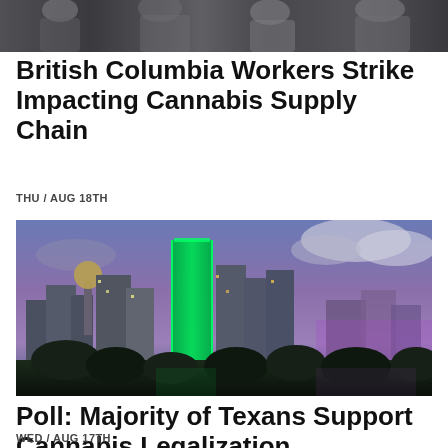[Figure (photo): Cropped photo of people, partial view at top of page]
British Columbia Workers Strike Impacting Cannabis Supply Chain
THU / AUG 18TH
[Figure (photo): Nighttime photo of Dallas skyline with illuminated skyscrapers including a green-lit tower and Reunion Tower]
Poll: Majority of Texans Support Cannabis Legalization
WED / AUG 17TH